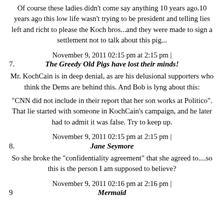Of course these ladies didn't come say anything 10 years ago.10 years ago this low life wasn't trying to be president and telling lies left and richt to please the Koch bros...and they were made to sign a settlement not to talk about this pig...
November 9, 2011 02:15 pm at 2:15 pm |
7. The Greedy Old Pigs have lost their minds!
Mr. KochCain is in deep denial, as are his delusional supporters who think the Dems are behind this. And Bob is lyng about this:
"CNN did not include in their report that her son works at Politico". That lie started with someone in KochCain's campaign, and he later had to admit it was false. Try to keep up.
November 9, 2011 02:15 pm at 2:15 pm |
8. Jane Seymore
So she broke the "confidentiality agreement" that she agreed to....so this is the person I am supposed to believe?
November 9, 2011 02:16 pm at 2:16 pm |
9. Mermaid